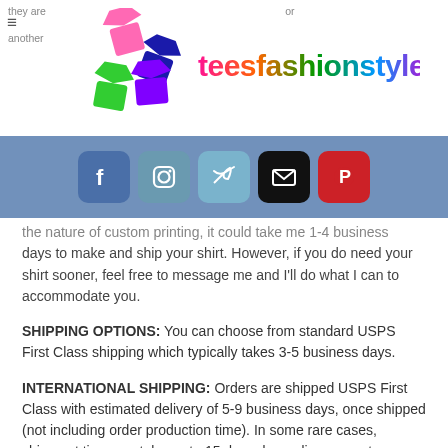teesfashionstyle.com
[Figure (logo): Teesfashionstyle.com logo with colorful t-shirt icons and stylized text]
[Figure (infographic): Social media bar with Facebook, Instagram, Twitter, Email, and Pinterest icons on blue background]
the nature of custom printing, it could take me 1-4 business days to make and ship your shirt. However, if you do need your shirt sooner, feel free to message me and I'll do what I can to accommodate you.
SHIPPING OPTIONS: You can choose from standard USPS First Class shipping which typically takes 3-5 business days.
INTERNATIONAL SHIPPING: Orders are shipped USPS First Class with estimated delivery of 5-9 business days, once shipped (not including order production time). In some rare cases, shipment time can take up to 15 days depending on customs holds for your country.